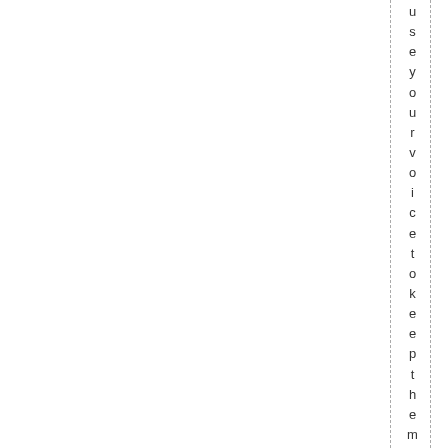use your voice to keep them l i s